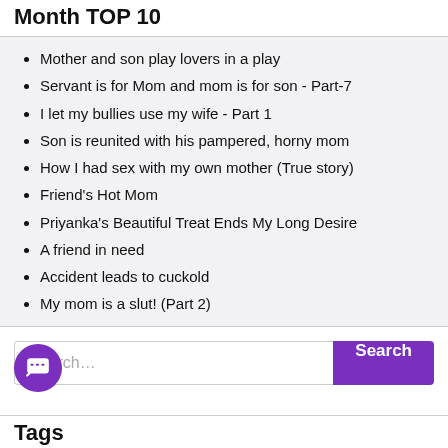Month TOP 10
Mother and son play lovers in a play
Servant is for Mom and mom is for son - Part-7
I let my bullies use my wife - Part 1
Son is reunited with his pampered, horny mom
How I had sex with my own mother (True story)
Friend's Hot Mom
Priyanka's Beautiful Treat Ends My Long Desire
A friend in need
Accident leads to cuckold
My mom is a slut! (Part 2)
Search...
Tags